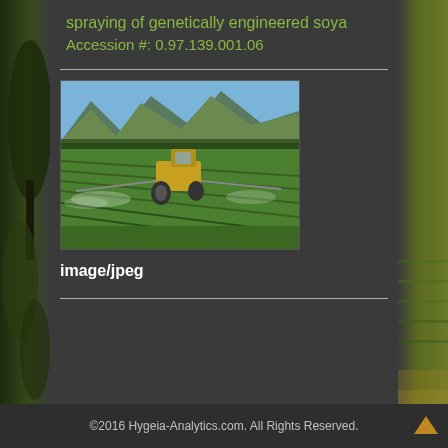spraying of genetically engineered soya
Accession #: 0.97.139.001.06
[Figure (photo): A tractor spraying crops in a large green field with mountains in the background]
image/jpeg
©2016 Hygeia-Analytics.com. All Rights Reserved.